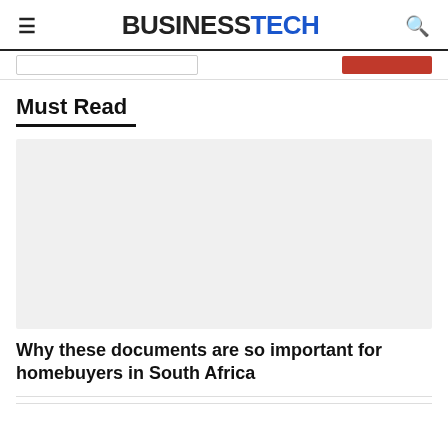BUSINESSTECH
Must Read
[Figure (photo): Placeholder image for article thumbnail, light grey rectangle]
Why these documents are so important for homebuyers in South Africa